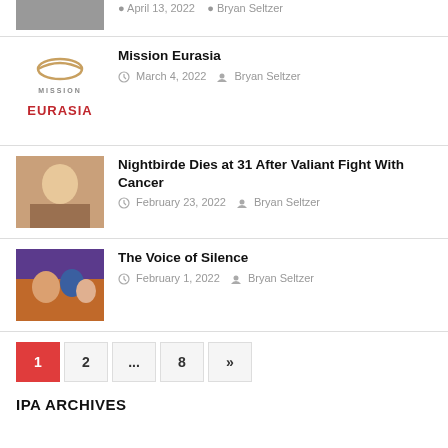[Figure (photo): Partial top thumbnail image, cropped]
April 13, 2022  Bryan Seltzer
[Figure (logo): Mission Eurasia logo with fish symbol and text]
Mission Eurasia
March 4, 2022  Bryan Seltzer
[Figure (photo): Photo of Nightbirde, a woman smiling]
Nightbirde Dies at 31 After Valiant Fight With Cancer
February 23, 2022  Bryan Seltzer
[Figure (photo): Group family photo]
The Voice of Silence
February 1, 2022  Bryan Seltzer
1
2
...
8
»
IPA ARCHIVES